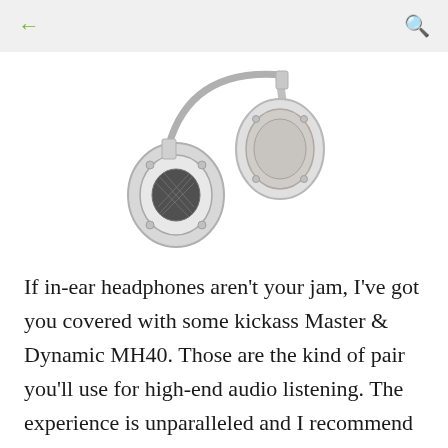← [back] [search]
[Figure (photo): Silver/white over-ear headphones, Master & Dynamic MH40, shown from front angle displaying mesh driver housing and padded ear cup]
If in-ear headphones aren't your jam, I've got you covered with some kickass Master & Dynamic MH40. Those are the kind of pair you'll use for high-end audio listening. The experience is unparalleled and I recommend it. You may think that $399 is a lot, but trust me, its worth every